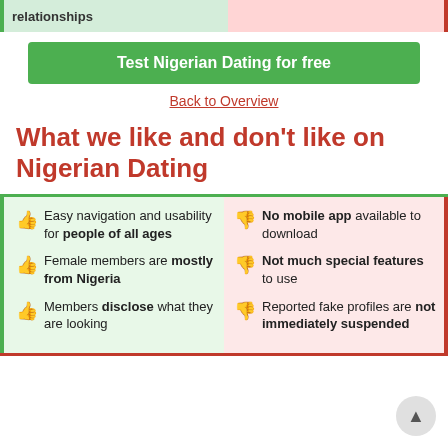relationships
Test Nigerian Dating for free
Back to Overview
What we like and don't like on Nigerian Dating
Easy navigation and usability for people of all ages
Female members are mostly from Nigeria
Members disclose what they are looking
No mobile app available to download
Not much special features to use
Reported fake profiles are not immediately suspended